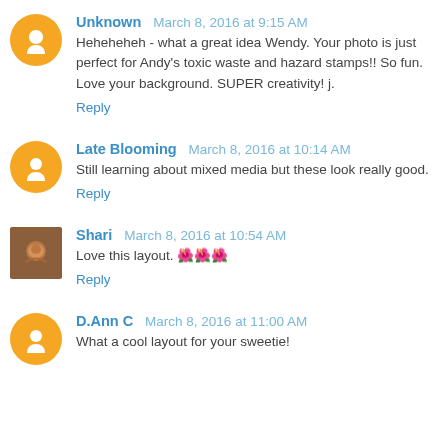Unknown  March 8, 2016 at 9:15 AM
Heheheheh - what a great idea Wendy. Your photo is just perfect for Andy's toxic waste and hazard stamps!! So fun. Love your background. SUPER creativity! j.
Reply
Late Blooming  March 8, 2016 at 10:14 AM
Still learning about mixed media but these look really good.
Reply
Shari  March 8, 2016 at 10:54 AM
Love this layout. 🌺🌺🌺
Reply
D.Ann C  March 8, 2016 at 11:00 AM
What a cool layout for your sweetie!